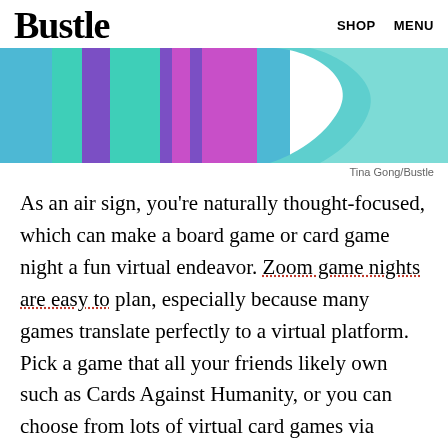Bustle   SHOP   MENU
[Figure (illustration): Decorative banner with colorful vertical stripes (blue, teal, purple, magenta) on the left and a teal gradient wave shape on the right]
Tina Gong/Bustle
As an air sign, you're naturally thought-focused, which can make a board game or card game night a fun virtual endeavor. Zoom game nights are easy to plan, especially because many games translate perfectly to a virtual platform. Pick a game that all your friends likely own such as Cards Against Humanity, or you can choose from lots of virtual card games via Playingcards.io.